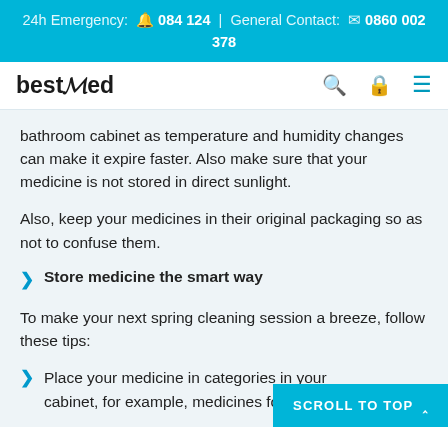24h Emergency: 084 124 | General Contact: 0860 002 378
[Figure (logo): bestMed logo with navigation icons (search, account, menu)]
bathroom cabinet as temperature and humidity changes can make it expire faster. Also make sure that your medicine is not stored in direct sunlight.
Also, keep your medicines in their original packaging so as not to confuse them.
Store medicine the smart way
To make your next spring cleaning session a breeze, follow these tips:
Place your medicine in categories in your cabinet, for example, medicines for colds and